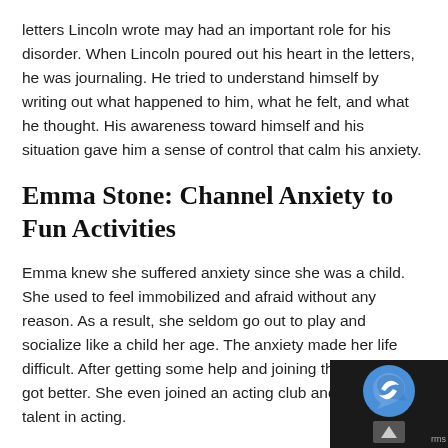letters Lincoln wrote may had an important role for his disorder. When Lincoln poured out his heart in the letters, he was journaling. He tried to understand himself by writing out what happened to him, what he felt, and what he thought. His awareness toward himself and his situation gave him a sense of control that calm his anxiety.
Emma Stone: Channel Anxiety to Fun Activities
Emma knew she suffered anxiety since she was a child. She used to feel immobilized and afraid without any reason. As a result, she seldom go out to play and socialize like a child her age. The anxiety made her life difficult. After getting some help and joining therapy, Emma got better. She even joined an acting club and found her talent in acting.
But, that doesn't mean the anxiety disappear. Anxiety attack still happens, but now Emma knows how to ma... it. Emma believed that anxiety comes from not having...